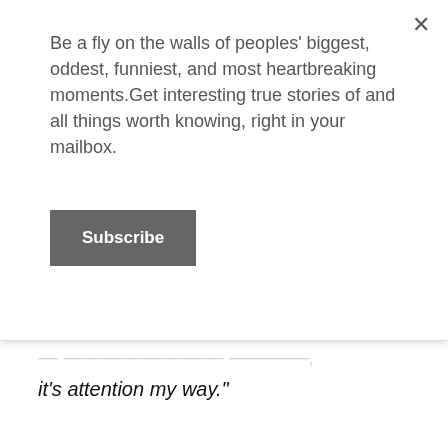Be a fly on the walls of peoples' biggest, oddest, funniest, and most heartbreaking moments.Get interesting true stories of and all things worth knowing, right in your mailbox.
Subscribe
it's attention my way."